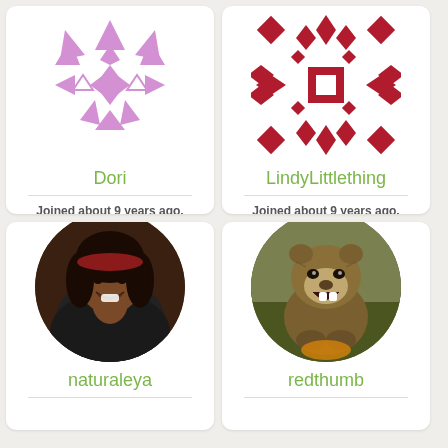[Figure (illustration): Purple geometric snowflake/pinwheel pattern avatar for user Dori]
Dori
Joined about 9 years ago.
0 plantings  0 harvests  0 seeds
[Figure (illustration): Red geometric quilt-like pattern avatar for user LindyLittlething]
LindyLittlething
Joined about 9 years ago.
0 plantings  0 harvests  0 seeds
[Figure (photo): Profile photo of naturaleya - young woman with red headband, smiling]
naturaleya
[Figure (photo): Profile photo of redthumb - a groundhog/woodchuck sitting up with mouth open]
redthumb